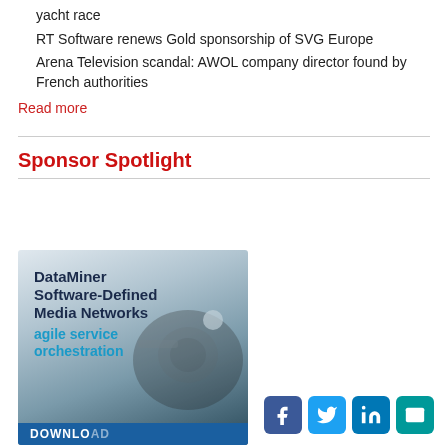yacht race
RT Software renews Gold sponsorship of SVG Europe
Arena Television scandal: AWOL company director found by French authorities
Read more
Sponsor Spotlight
[Figure (photo): Advertisement for DataMiner Software-Defined Media Networks featuring agile service orchestration, with a camera in the background and a DOWNLOAD bar at the bottom]
[Figure (infographic): Social media icons: Facebook, Twitter, LinkedIn, Email]